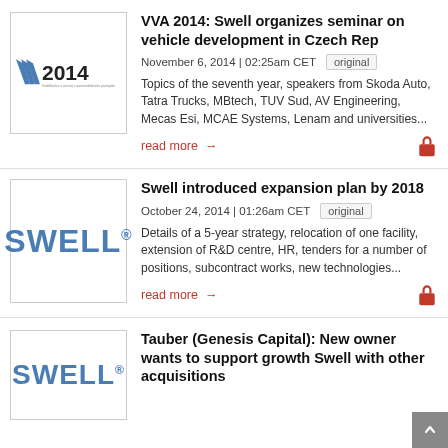[Figure (logo): VVA 2014 logo with stylized checkmark and text]
VVA 2014: Swell organizes seminar on vehicle development in Czech Rep
November 6, 2014 | 02:25am CET   original
Topics of the seventh year, speakers from Skoda Auto, Tatra Trucks, MBtech, TUV Sud, AV Engineering, Mecas Esi, MCAE Systems, Lenam and universities...
read more →
[Figure (logo): Swell logo in blue bold text with registered trademark symbol]
Swell introduced expansion plan by 2018
October 24, 2014 | 01:26am CET   original
Details of a 5-year strategy, relocation of one facility, extension of R&D centre, HR, tenders for a number of positions, subcontract works, new technologies...
read more →
[Figure (logo): Swell logo in blue bold text with registered trademark symbol (partial view)]
Tauber (Genesis Capital): New owner wants to support growth Swell with other acquisitions